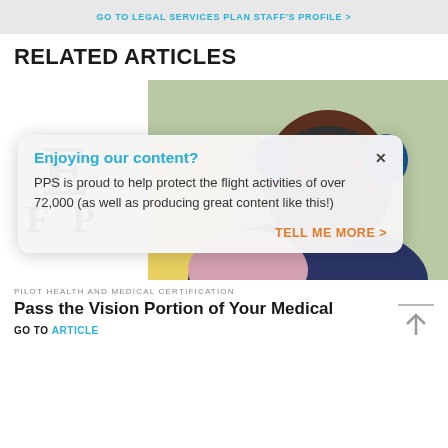GO TO LEGAL SERVICES PLAN STAFF'S PROFILE >
RELATED ARTICLES
[Figure (photo): Eye chart showing large letter E and smaller letters below]
[Figure (photo): Person wearing aviation headset and headphones viewed from behind near aircraft]
Enjoying our content?
×
PPS is proud to help protect the flight activities of over 72,000 (as well as producing great content like this!)
TELL ME MORE >
PILOT HEALTH AND MEDICAL CERTIFICATION
Pass the Vision Portion of Your Medical
GO TO ARTICLE